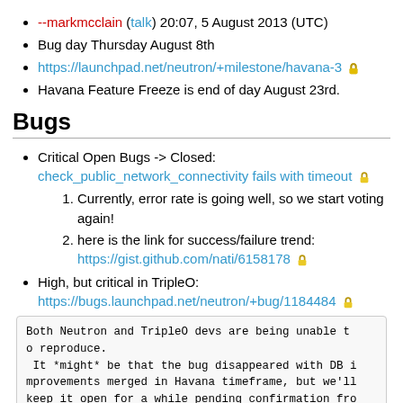--markmcclain (talk) 20:07, 5 August 2013 (UTC)
Bug day Thursday August 8th
https://launchpad.net/neutron/+milestone/havana-3 🔒
Havana Feature Freeze is end of day August 23rd.
Bugs
Critical Open Bugs -> Closed:
check_public_network_connectivity fails with timeout 🔒
1. Currently, error rate is going well, so we start voting again!
2. here is the link for success/failure trend:
https://gist.github.com/nati/6158178 🔒
High, but critical in TripleO:
https://bugs.launchpad.net/neutron/+bug/1184484 🔒
Both Neutron and TripleO devs are being unable to reproduce.
 It *might* be that the bug disappeared with DB improvements merged in Havana timeframe, but we'll keep it open for a while pending confirmation from other who've witnessed it.